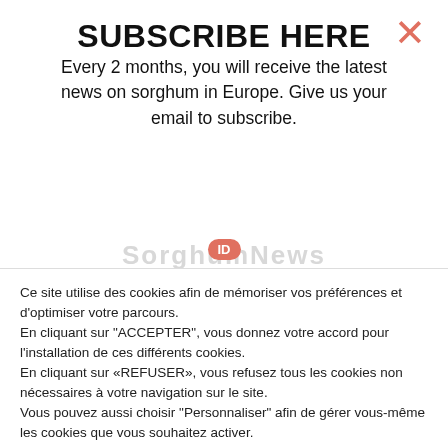SUBSCRIBE HERE
Every 2 months, you will receive the latest news on sorghum in Europe. Give us your email to subscribe.
[Figure (other): Red/salmon X close button in upper right corner of modal dialog]
[Figure (other): Red oval ID badge and SorghumNews watermark text partially visible]
Ce site utilise des cookies afin de mémoriser vos préférences et d'optimiser votre parcours.
En cliquant sur "ACCEPTER", vous donnez votre accord pour l'installation de ces différents cookies.
En cliquant sur «REFUSER», vous refusez tous les cookies non nécessaires à votre navigation sur le site.
Vous pouvez aussi choisir "Personnaliser" afin de gérer vous-même les cookies que vous souhaitez activer.
Personnaliser
ACCEPTER